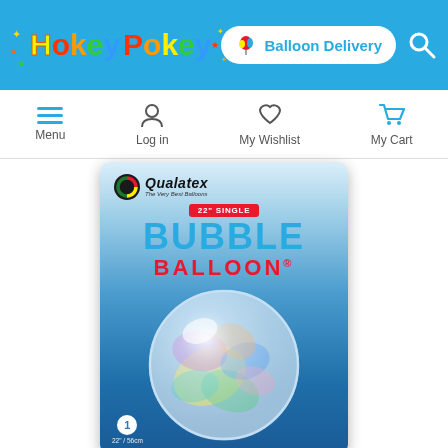HokeyPokey — Balloon Delivery
[Figure (screenshot): Navigation bar with Menu, Log in, My Wishlist, and My Cart icons]
[Figure (photo): Qualatex 22 inch Single Bubble Balloon product card with marbled rainbow balloon image on blue gradient background]